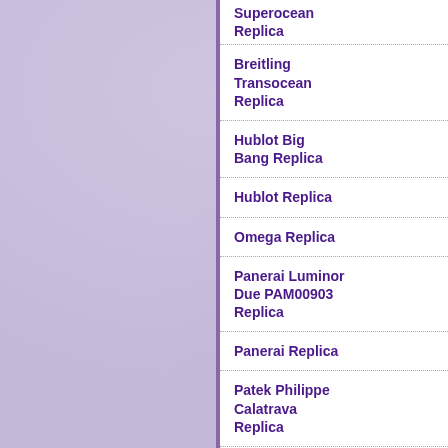[Figure (other): Lavender/purple textured background panel on the left side of the page]
Superocean Replica
Breitling Transocean Replica
Hublot Big Bang Replica
Hublot Replica
Omega Replica
Panerai Luminor Due PAM00903 Replica
Panerai Replica
Patek Philippe Calatrava Replica
Patek Philippe Ref. 5172G Replica
Patek Philippe Ref. 6301P Replica
Patek Philippe